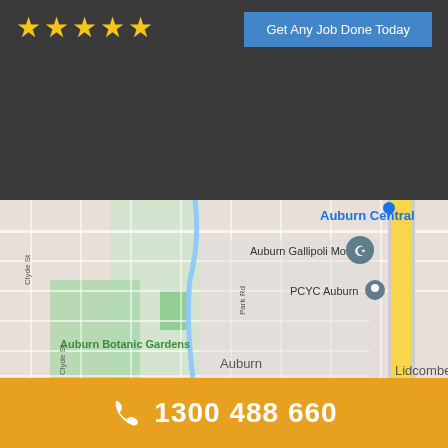[Figure (other): Five gold star rating icons on dark grey background]
Get Any Job Done Today
[Figure (map): Google Maps screenshot showing Auburn area in Sydney, Australia. Landmarks visible: Auburn Central, Auburn Gallipoli Mosque, PCYC Auburn, Auburn Botanic Gardens, Auburn, Lidcombe. Streets include Blaxcell St, Clyde St, Park Rd, Water St. A yellow highway runs along the right edge.]
1300 488 660